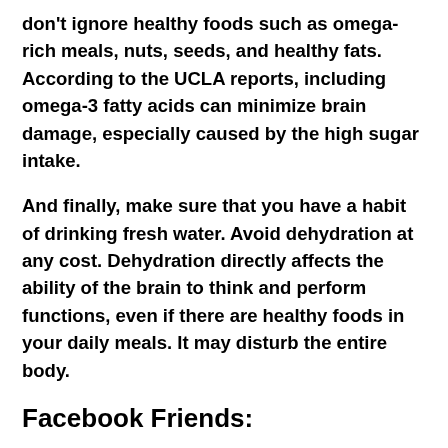don't ignore healthy foods such as omega-rich meals, nuts, seeds, and healthy fats. According to the UCLA reports, including omega-3 fatty acids can minimize brain damage, especially caused by the high sugar intake.
And finally, make sure that you have a habit of drinking fresh water. Avoid dehydration at any cost. Dehydration directly affects the ability of the brain to think and perform functions, even if there are healthy foods in your daily meals. It may disturb the entire body.
Facebook Friends:
Remember, they don't count. As humans, we love social interactions. According to a report by Harvard Adult Development, good friendships and relationships keep us healthy and happy. It is hard for humans to isolate